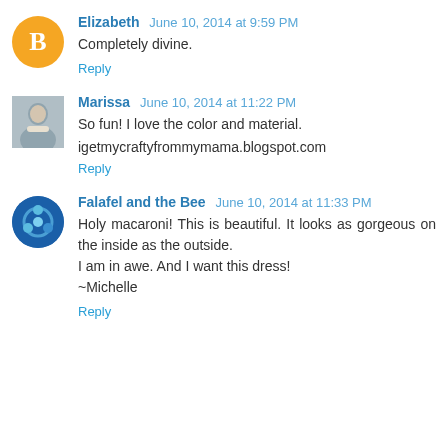Elizabeth  June 10, 2014 at 9:59 PM
Completely divine.
Reply
Marissa  June 10, 2014 at 11:22 PM
So fun! I love the color and material.
igetmycraftyfrommymama.blogspot.com
Reply
Falafel and the Bee  June 10, 2014 at 11:33 PM
Holy macaroni! This is beautiful. It looks as gorgeous on the inside as the outside.
I am in awe. And I want this dress!
~Michelle
Reply